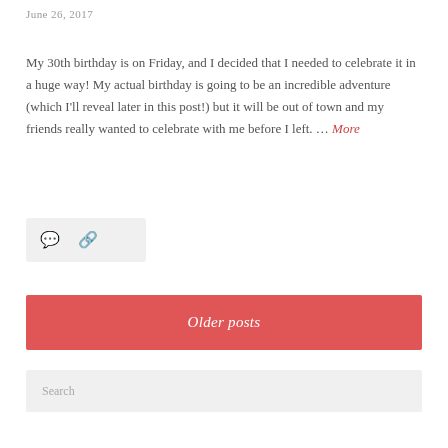June 26, 2017
My 30th birthday is on Friday, and I decided that I needed to celebrate it in a huge way!  My actual birthday is going to be an incredible adventure (which I'll reveal later in this post!) but it will be out of town and my friends really wanted to celebrate with me before I left. … More
[Figure (other): Icon bar with comment and link icons on a light grey background]
Older posts
Search